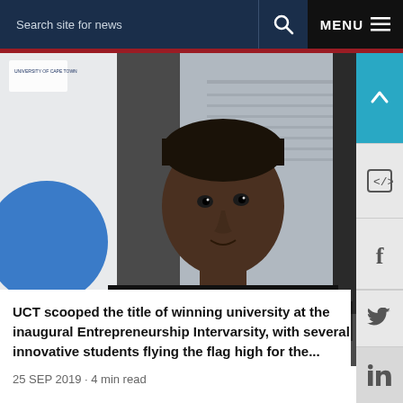Search site for news  MENU
[Figure (photo): Young man in a black 'zaic' branded t-shirt presenting at a UCT entrepreneurship event, with a blue UCT logo banner visible on the left and a projection screen behind him.]
UCT entrepreneurs tops in SA
UCT scooped the title of winning university at the inaugural Entrepreneurship Intervarsity, with several innovative students flying the flag high for the...
25 SEP 2019 - 4 min read